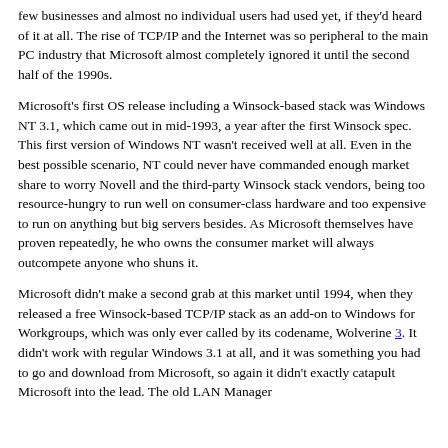few businesses and almost no individual users had used yet, if they'd heard of it at all. The rise of TCP/IP and the Internet was so peripheral to the main PC industry that Microsoft almost completely ignored it until the second half of the 1990s.
Microsoft's first OS release including a Winsock-based stack was Windows NT 3.1, which came out in mid-1993, a year after the first Winsock spec. This first version of Windows NT wasn't received well at all. Even in the best possible scenario, NT could never have commanded enough market share to worry Novell and the third-party Winsock stack vendors, being too resource-hungry to run well on consumer-class hardware and too expensive to run on anything but big servers besides. As Microsoft themselves have proven repeatedly, he who owns the consumer market will always outcompete anyone who shuns it.
Microsoft didn't make a second grab at this market until 1994, when they released a free Winsock-based TCP/IP stack as an add-on to Windows for Workgroups, which was only ever called by its codename, Wolverine 3. It didn't work with regular Windows 3.1 at all, and it was something you had to go and download from Microsoft, so again it didn't exactly catapult Microsoft into the lead. The old LAN Manager